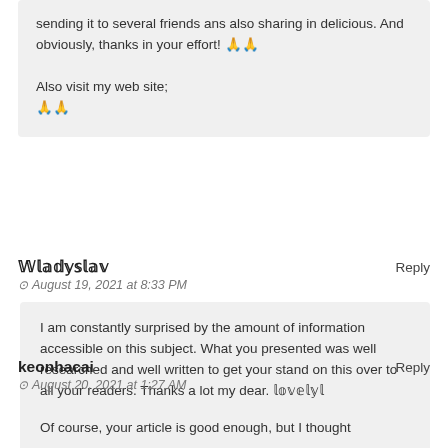sending it to several friends ans also sharing in delicious. And obviously, thanks in your effort! 🙏🙏

Also visit my web site;
🙏🙏
𝕎𝕝𝕒𝕕𝕪𝕤𝕝𝕒𝕧
August 19, 2021 at 8:33 PM
Reply
I am constantly surprised by the amount of information accessible on this subject. What you presented was well researched and well written to get your stand on this over to all your readers. Thanks a lot my dear. 𝕝𝕠𝕧𝕖𝕝𝕪𝕝
keonhacai
August 20, 2021 at 1:27 AM
Reply
Of course, your article is good enough, but I thought